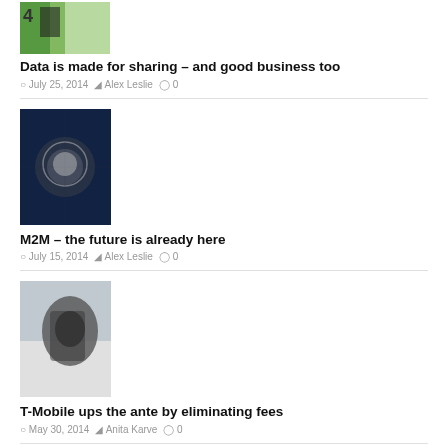[Figure (photo): Thumbnail image for article about data sharing]
Data is made for sharing – and good business too
July 25, 2014  Alex Leslie  0
[Figure (photo): Thumbnail image showing a globe with digital network overlay for M2M article]
M2M – the future is already here
July 15, 2014  Alex Leslie  0
[Figure (photo): Thumbnail image showing a person with glove for T-Mobile article]
T-Mobile ups the ante by eliminating fees
May 30, 2014  Anita Karve  0
[Figure (photo): Thumbnail image for fourth article showing a sports/outdoor scene]